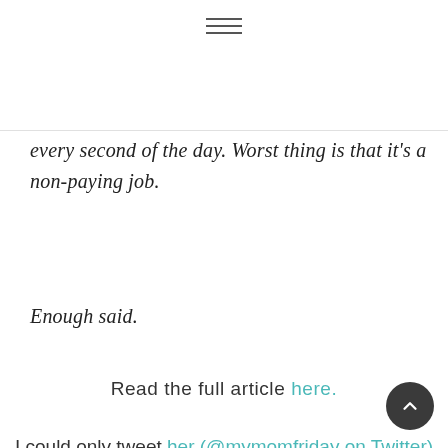[Figure (other): Hamburger menu icon (three horizontal lines)]
every second of the day. Worst thing is that it's a non-paying job.
Enough said.
Read the full article here.
I could only tweet her (@mymomfriday on Twitter) right after I fully read her article. Everything that was written there is true. It is pure joy for me being a stay at home mom, but with all the "free time" there is, ironically one can have none yet one can have too